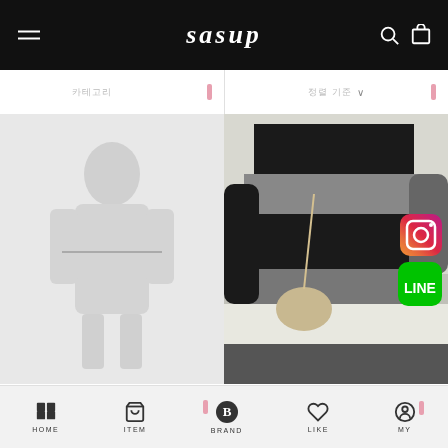sasup
정렬 기준 | 카테고리 ∨
[Figure (photo): White/light gray knit sweater product photo, faded/loading appearance with a horizontal line in center]
[Figure (photo): Model wearing black and gray striped oversized knit/sweater with crossbody bag, Instagram and LINE app icons overlaid in bottom right]
HOLY IN CODE
HACHI HALF POLA KNIT (12COLOR)
¥3,680
HOLY IN CODE
CUT STRIPE OVER KNIT
¥5,890
HOME  ITEM  BRAND  LIKE  MY